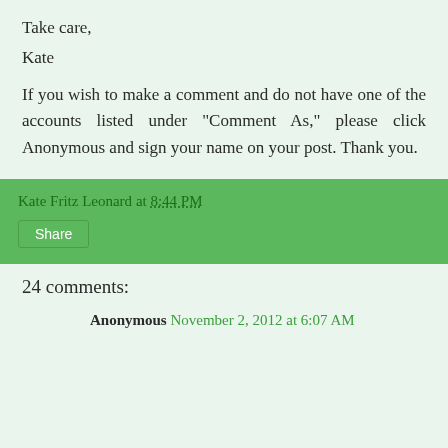Take care,
Kate
If you wish to make a comment and do not have one of the accounts listed under "Comment As," please click Anonymous and sign your name on your post. Thank you.
Kate Fritz Leonard at 8:44 PM
Share
24 comments:
Anonymous November 2, 2012 at 6:07 AM